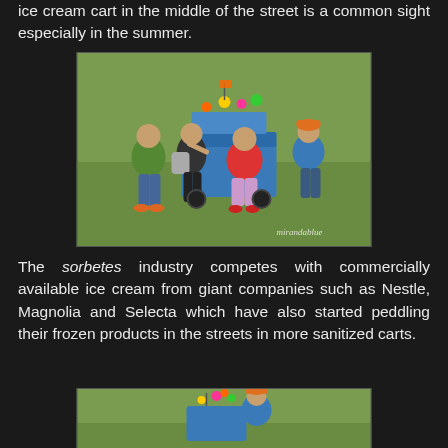ice cream cart in the middle of the street is a common sight especially in the summer.
[Figure (photo): Outdoor scene on a grassy field: a street vendor with a blue sorbetes (ice cream) cart decorated with colorful items on top, serving customers. A man in a green shirt and a woman in dark clothes face the cart from the left; a woman in a red shirt stands at the center rear of the cart; a vendor in a blue shirt and orange cap stands on the right. Watermark reads 'mirandablue' in bottom right.]
The sorbetes industry competes with commercially available ice cream from giant companies such as Nestle, Magnolia and Selecta which have also started peddling their frozen products in the streets in more sanitized carts.
[Figure (photo): Outdoor scene on grassy field: a vendor in a blue shirt and orange cap stands beside a sorbetes cart with colorful items on top, partially visible at the bottom of the frame.]